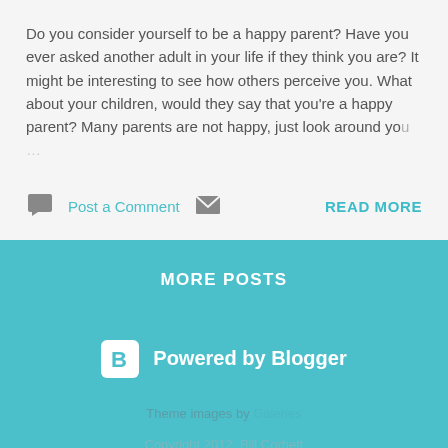Do you consider yourself to be a happy parent? Have you ever asked another adult in your life if they think you are? It might be interesting to see how others perceive you. What about your children, would they say that you’re a happy parent? Many parents are not happy, just look around yo…
Post a Comment
READ MORE
MORE POSTS
Powered by Blogger
Theme images by Galeries
Copyright 2012. Bill Corbett